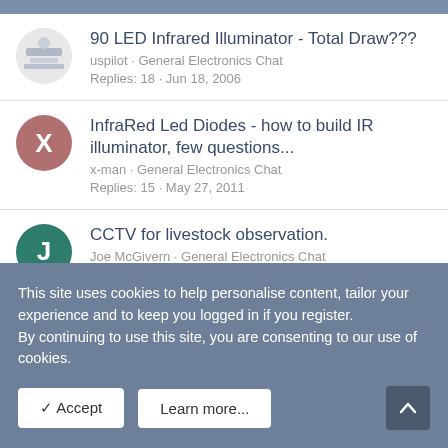90 LED Infrared Illuminator - Total Draw???
uspilot · General Electronics Chat
Replies: 18 · Jun 18, 2006
InfraRed Led Diodes - how to build IR illuminator, few questions...
x-man · General Electronics Chat
Replies: 15 · May 27, 2011
CCTV for livestock observation.
Joe McGivern · General Electronics Chat
Replies: 2 · Dec 27, 2008
IR LED illuminator
This site uses cookies to help personalise content, tailor your experience and to keep you logged in if you register.
By continuing to use this site, you are consenting to our use of cookies.